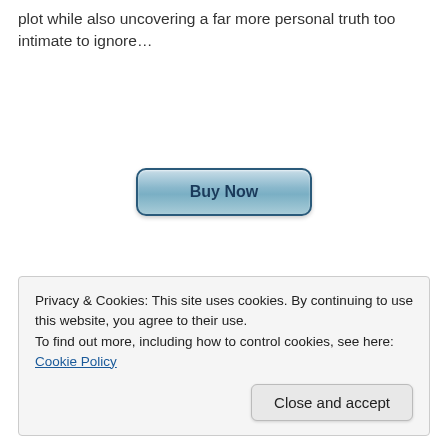plot while also uncovering a far more personal truth too intimate to ignore…
[Figure (other): A 'Buy Now' button with a blue gradient style and rounded corners]
Privacy & Cookies: This site uses cookies. By continuing to use this website, you agree to their use.
To find out more, including how to control cookies, see here: Cookie Policy
Close and accept